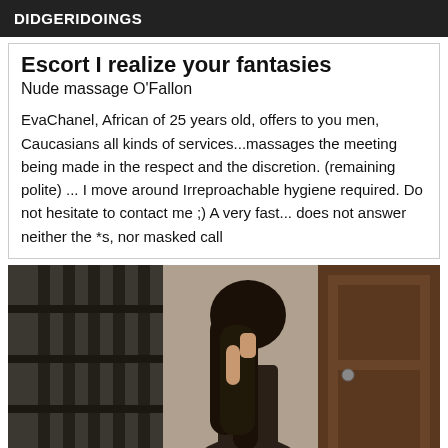DIDGERIDOINGS
Escort I realize your fantasies
Nude massage O'Fallon
EvaChanel, African of 25 years old, offers to you men, Caucasians all kinds of services...massages the meeting being made in the respect and the discretion. (remaining polite) ... I move around Irreproachable hygiene required. Do not hesitate to contact me ;) A very fast... does not answer neither the *s, nor masked call
[Figure (photo): Photo of a woman with long dark hair viewed from behind, standing near a metal gate and wooden door]